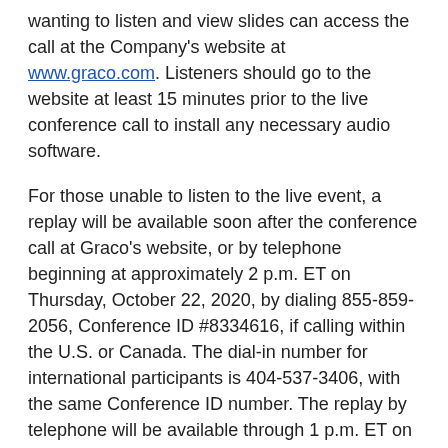wanting to listen and view slides can access the call at the Company's website at www.graco.com. Listeners should go to the website at least 15 minutes prior to the live conference call to install any necessary audio software.
For those unable to listen to the live event, a replay will be available soon after the conference call at Graco's website, or by telephone beginning at approximately 2 p.m. ET on Thursday, October 22, 2020, by dialing 855-859-2056, Conference ID #8334616, if calling within the U.S. or Canada. The dial-in number for international participants is 404-537-3406, with the same Conference ID number. The replay by telephone will be available through 1 p.m. ET on Wednesday, October 28, 2020.